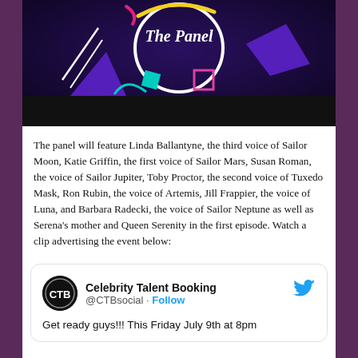[Figure (illustration): Graphic image with dark purple/navy background showing 'The Panel' text in white cursive script inside a white circle, with colorful geometric shapes including purple triangles, teal diamond, pink square outline, and a teal arc.]
The panel will feature Linda Ballantyne, the third voice of Sailor Moon, Katie Griffin, the first voice of Sailor Mars, Susan Roman, the voice of Sailor Jupiter, Toby Proctor, the second voice of Tuxedo Mask, Ron Rubin, the voice of Artemis, Jill Frappier, the voice of Luna, and Barbara Radecki, the voice of Sailor Neptune as well as Serena's mother and Queen Serenity in the first episode. Watch a clip advertising the event below:
Celebrity Talent Booking @CTBsocial · Follow
Get ready guys!!! This Friday July 9th at 8pm